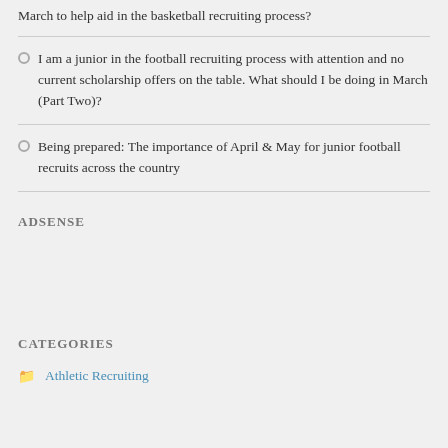March to help aid in the basketball recruiting process?
I am a junior in the football recruiting process with attention and no current scholarship offers on the table. What should I be doing in March (Part Two)?
Being prepared: The importance of April & May for junior football recruits across the country
ADSENSE
CATEGORIES
Athletic Recruiting